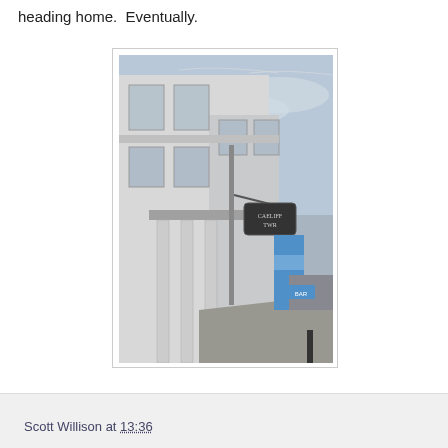heading home.  Eventually.
[Figure (photo): Street-level photograph of a white classical building with columns and a hanging pub sign reading 'Caeliff TWR', taken from a low angle showing the facade and a street receding into the distance with other shops visible.]
Scott Willison at 13:36